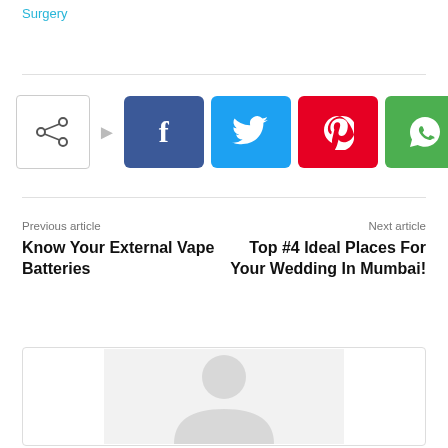Surgery
[Figure (other): Social share buttons row: share icon box with arrow, Facebook (f), Twitter (bird), Pinterest (p), WhatsApp (phone) buttons]
Previous article
Know Your External Vape Batteries
Next article
Top #4 Ideal Places For Your Wedding In Mumbai!
[Figure (other): Card box with placeholder image/avatar icon]